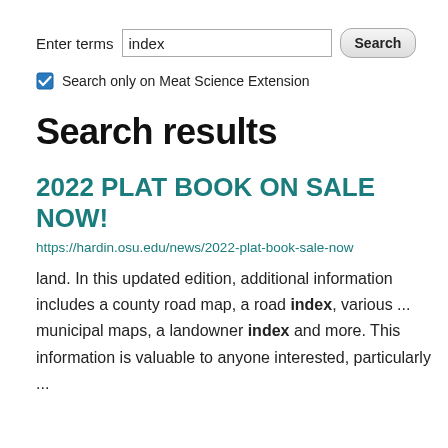Enter terms  index  Search
Search only on Meat Science Extension
Search results
2022 PLAT BOOK ON SALE NOW!
https://hardin.osu.edu/news/2022-plat-book-sale-now
land. In this updated edition, additional information includes a county road map, a road index, various ... municipal maps, a landowner index and more. This information is valuable to anyone interested, particularly
...